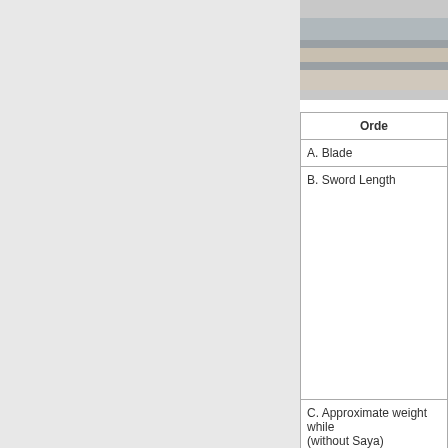[Figure (photo): Close-up photo of a sword blade, showing metallic surface with silver and beige tones, cropped at top right of page]
| Orde |
| --- |
| A. Blade |
| B. Sword Length |
| C. Approximate weight while (without Saya) |
| D. Fuchi-Kashira |